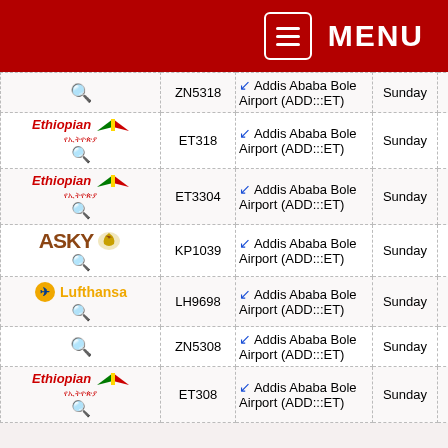MENU
| Airline | Flight | Destination | Day | Time |
| --- | --- | --- | --- | --- |
| (search icon) | ZN5318 | Addis Ababa Bole Airport (ADD:::ET) | Sunday | 13:05 |
| Ethiopian | ET318 | Addis Ababa Bole Airport (ADD:::ET) | Sunday | 13:05 |
| Ethiopian | ET3304 | Addis Ababa Bole Airport (ADD:::ET) | Sunday | 19:15 |
| ASKY | KP1039 | Addis Ababa Bole Airport (ADD:::ET) | Sunday | 01:20 |
| Lufthansa | LH9698 | Addis Ababa Bole Airport (ADD:::ET) | Sunday | 01:20 |
| (search icon) | ZN5308 | Addis Ababa Bole Airport (ADD:::ET) | Sunday | 01:20 |
| Ethiopian | ET308 | Addis Ababa Bole Airport (ADD:::ET) | Sunday | 01:20 |